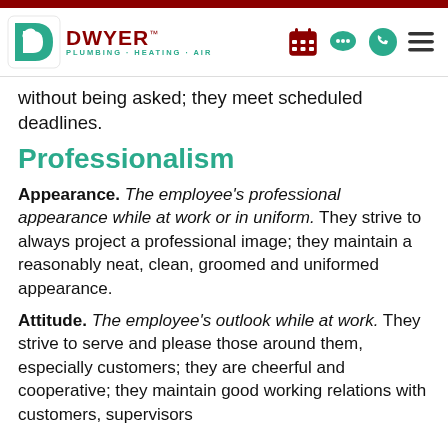[Figure (logo): Dwyer Plumbing Heating Air logo with dark red D icon and teal text, plus navigation icons (calendar, chat, phone, menu)]
without being asked; they meet scheduled deadlines.
Professionalism
Appearance. The employee's professional appearance while at work or in uniform. They strive to always project a professional image; they maintain a reasonably neat, clean, groomed and uniformed appearance.
Attitude. The employee's outlook while at work. They strive to serve and please those around them, especially customers; they are cheerful and cooperative; they maintain good working relations with customers, supervisors